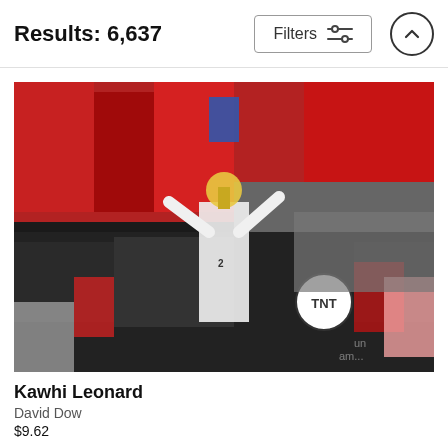Results: 6,637
[Figure (photo): Kawhi Leonard holding a trophy aloft surrounded by celebrating fans in red and a crowd of photographers and media. A TNT camera operator is visible in the foreground. The arena is packed with Toronto Raptors fans.]
Kawhi Leonard
David Dow
$9.62